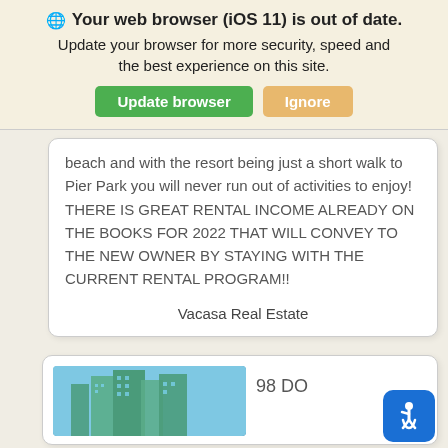⊕ Your web browser (iOS 11) is out of date. Update your browser for more security, speed and the best experience on this site. [Update browser] [Ignore]
beach and with the resort being just a short walk to Pier Park you will never run out of activities to enjoy! THERE IS GREAT RENTAL INCOME ALREADY ON THE BOOKS FOR 2022 THAT WILL CONVEY TO THE NEW OWNER BY STAYING WITH THE CURRENT RENTAL PROGRAM!!
Vacasa Real Estate
98 DO
[Figure (photo): Partial view of a beachside high-rise building under blue sky]